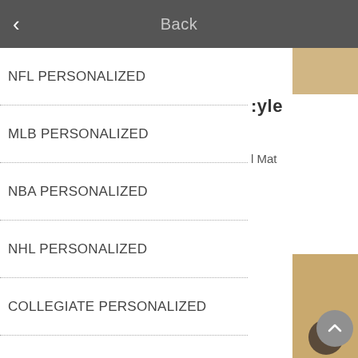Back
NFL PERSONALIZED
MLB PERSONALIZED
NBA PERSONALIZED
NHL PERSONALIZED
COLLEGIATE PERSONALIZED
MILITARY PERSONALIZED
NAVY - SEABEES
ARMY WEST POINT
:yle
l Mat